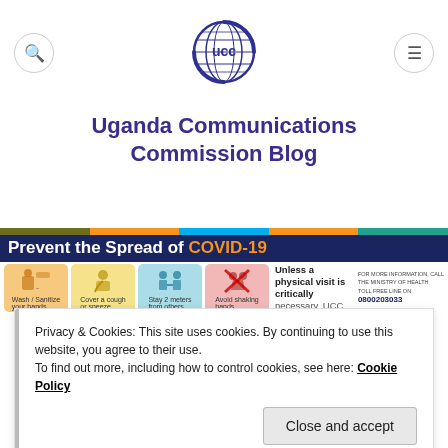[Figure (logo): UCC globe logo with UCC text inside]
Uganda Communications Commission Blog
[Figure (infographic): Prevent the Spread of COVID-19 banner with icons for hand washing, covering cough, staying 2 meters, avoiding handshakes, and Ministry of Health toll free number 0800203033]
Privacy & Cookies: This site uses cookies. By continuing to use this website, you agree to their use.
To find out more, including how to control cookies, see here: Cookie Policy
Close and accept
Forum: